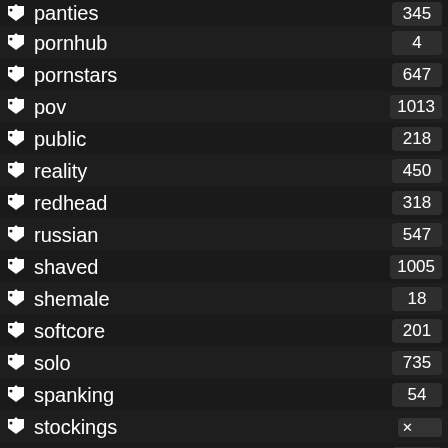panties 345
pornhub 4
pornstars 647
pov 1013
public 218
reality 450
redhead 318
russian 547
shaved 1005
shemale 18
softcore 201
solo 735
spanking 54
stockings
straight 1
strapon 48
striptease